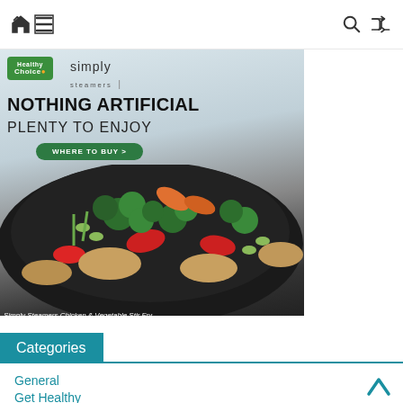[Figure (screenshot): Website navigation bar with home icon, hamburger menu in bordered box, search icon, and shuffle icon on white background]
[Figure (photo): Healthy Choice Simply Steamers advertisement banner. Green logo badge top-left, 'simply steamers' text, bold headline 'NOTHING ARTIFICIAL PLENTY TO ENJOY', green 'WHERE TO BUY >' button, and a dark bowl with chicken and vegetable stir fry including broccoli, red peppers, carrots, edamame. Caption reads 'Simply Steamers Chicken & Vegetable Stir Fry']
Categories
General
Get Healthy